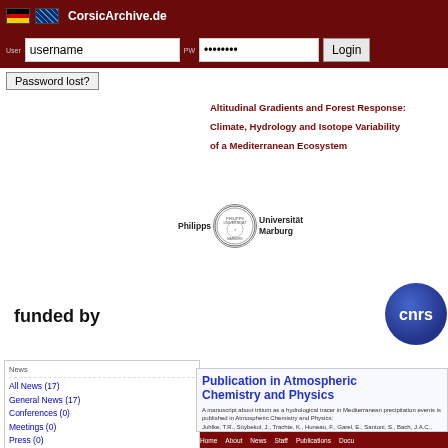CorsicArchive.de
username | ******** | Login | Password lost?
Altitudinal Gradients and Forest Response:
Climate, Hydrology and Isotope Variability
of a Mediterranean Ecosystem
[Figure (logo): Philipps Universität Marburg seal/logo with text]
funded by
[Figure (logo): CNRS blue circular logo]
Home About News Staff Publications Docu
News
All News (17)
General News (17)
Conferences (0)
Meetings (0)
Press (0)
Quick search
Publications:
Publication in Atmospheric Chemistry and Physics
A manuscript about tritium as a hydrological tracer in Mediterranean precipitation events is published in Atmospheric Chemistry and Physics:
Juhlke, T.R., Süybekul, J., Trachte, K., Huneau, F., Garel, E., Santoni, S., Bach, J.A.C., van Geldern, R. (2020): Tritium as a hydrological tracer in Mediterranean precipitation events. Atmospheric Chemistry and Physics, 20:2235-2568. doi: 10.5194/acp-20-2335-2020
Author: Sonja Szymczak | posted in general